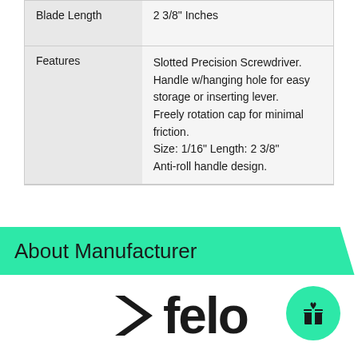|  |  |
| --- | --- |
| Blade Length | 2 3/8" Inches |
| Features | Slotted Precision Screwdriver. Handle w/hanging hole for easy storage or inserting lever. Freely rotation cap for minimal friction. Size: 1/16" Length: 2 3/8" Anti-roll handle design. |
About Manufacturer
[Figure (logo): Felo brand logo with arrow chevron and gift circle icon]